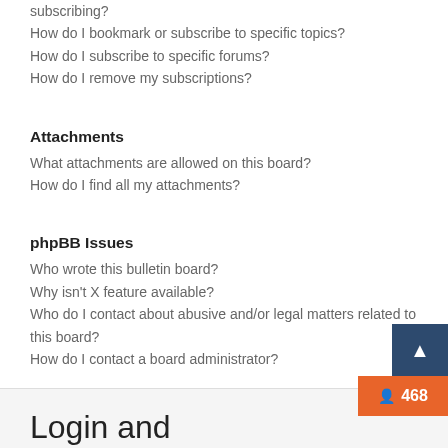subscribing?
How do I bookmark or subscribe to specific topics?
How do I subscribe to specific forums?
How do I remove my subscriptions?
Attachments
What attachments are allowed on this board?
How do I find all my attachments?
phpBB Issues
Who wrote this bulletin board?
Why isn't X feature available?
Who do I contact about abusive and/or legal matters related to this board?
How do I contact a board administrator?
Login and Registration Issues
Why do I need to register?